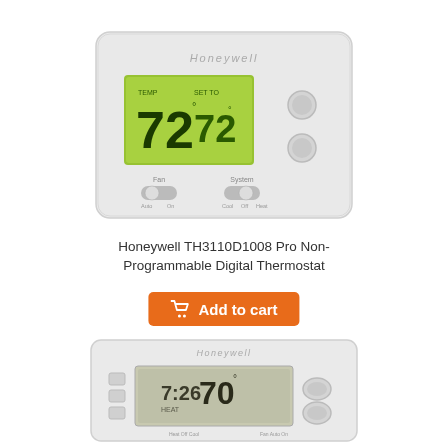[Figure (photo): Honeywell TH3110D1008 Pro Non-Programmable Digital Thermostat - white rectangular thermostat with green backlit digital display showing 72 degrees, two round buttons on right side, Fan and System toggle switches at bottom]
Honeywell TH3110D1008 Pro Non-Programmable Digital Thermostat
Add to cart
[Figure (photo): Honeywell non-programmable digital thermostat - white rectangular thermostat with gray LCD display showing 70 degrees and 7:26 time, three small square buttons on left side, two oval buttons on right side]